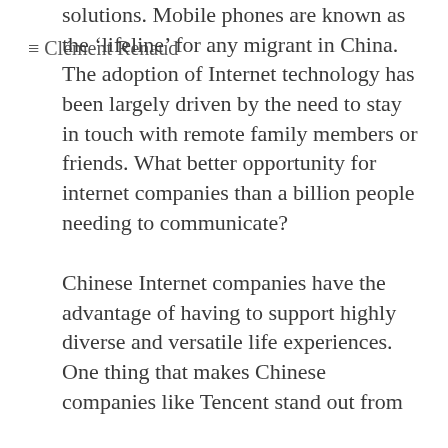Clément Renaud
solutions. Mobile phones are known as the 'lifeline' for any migrant in China. The adoption of Internet technology has been largely driven by the need to stay in touch with remote family members or friends. What better opportunity for internet companies than a billion people needing to communicate?
Chinese Internet companies have the advantage of having to support highly diverse and versatile life experiences. One thing that makes Chinese companies like Tencent stand out from